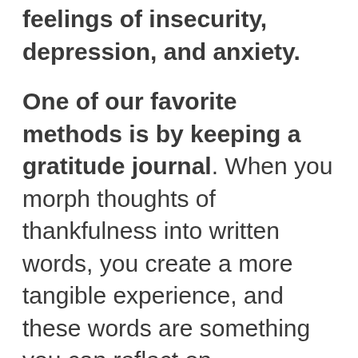feelings of insecurity, depression, and anxiety.
One of our favorite methods is by keeping a gratitude journal. When you morph thoughts of thankfulness into written words, you create a more tangible experience, and these words are something you can reflect on.
Journaling gratitude has become popular in the mainstream thanks to celebrities like Oprah Winfrey, Camila Mendes, and Arianna Huffington. The benefits of gratitude are also backed by scientific evidence.